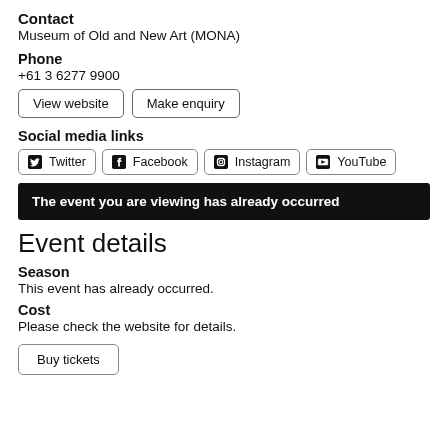Contact
Museum of Old and New Art (MONA)
Phone
+61 3 6277 9900
View website
Make enquiry
Social media links
Twitter
Facebook
Instagram
YouTube
The event you are viewing has already occurred
Event details
Season
This event has already occurred.
Cost
Please check the website for details.
Buy tickets